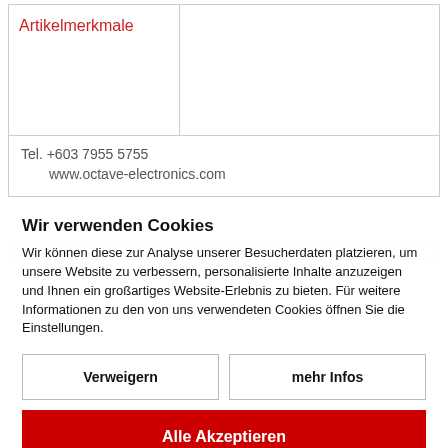Artikelmerkmale
Tel. +603 7955 5755
www.octave-electronics.com
Wir verwenden Cookies
Wir können diese zur Analyse unserer Besucherdaten platzieren, um unsere Website zu verbessern, personalisierte Inhalte anzuzeigen und Ihnen ein großartiges Website-Erlebnis zu bieten. Für weitere Informationen zu den von uns verwendeten Cookies öffnen Sie die Einstellungen.
Verweigern
mehr Infos
Alle Akzeptieren
Datenschutz   Impressum